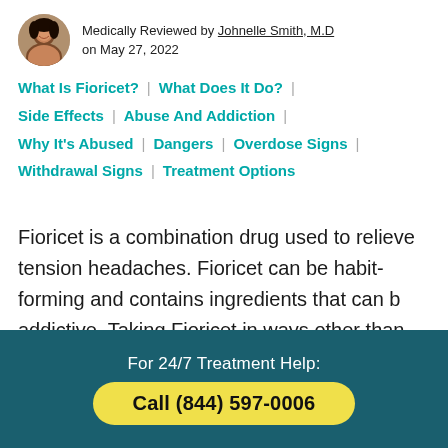Medically Reviewed by Johnelle Smith, M.D on May 27, 2022
What Is Fioricet? | What Does It Do? | Side Effects | Abuse And Addiction | Why It's Abused | Dangers | Overdose Signs | Withdrawal Signs | Treatment Options
Fioricet is a combination drug used to relieve tension headaches. Fioricet can be habit-forming and contains ingredients that can be addictive. Taking Fioricet in ways other than
For 24/7 Treatment Help:
Call (844) 597-0006